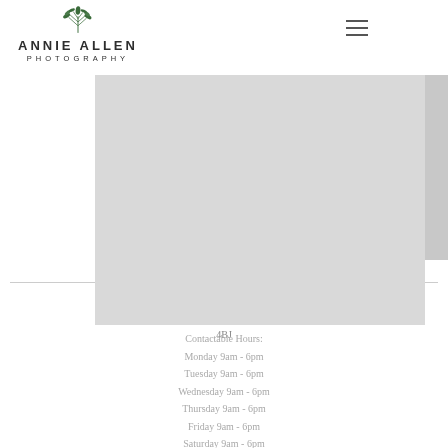[Figure (logo): Annie Allen Photography logo with leaf/branch illustration above the text]
Session
Family is super special to me. I have always been quite close to all of my siblings (I'm th…
0
Email: annie.allen@hotmail.com  Phone: 07730597453
Address: The Avenue, Aldershot Hampshire, GU12 4BJ
Contactable Hours:
Monday 9am - 6pm
Tuesday 9am - 6pm
Wednesday 9am - 6pm
Thursday 9am - 6pm
Friday 9am - 6pm
Saturday 9am - 6pm
Sunday 9am - 6pm